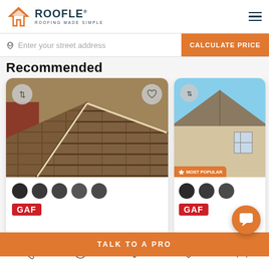[Figure (screenshot): Roofle app screenshot showing navigation bar with logo, address input bar, Recommended section heading, two roofing product cards with shingle images, color swatches, GAF branding, Talk to a Pro button, and bottom navigation bar]
Enter your street address
CALCULATE PRICE
Recommended
TALK TO A PRO
MOST POPULAR